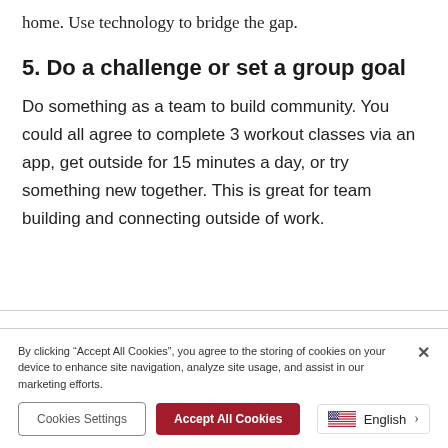home. Use technology to bridge the gap.
5. Do a challenge or set a group goal
Do something as a team to build community. You could all agree to complete 3 workout classes via an app, get outside for 15 minutes a day, or try something new together. This is great for team building and connecting outside of work.
By clicking “Accept All Cookies”, you agree to the storing of cookies on your device to enhance site navigation, analyze site usage, and assist in our marketing efforts.
Cookies Settings
Accept All Cookies
English